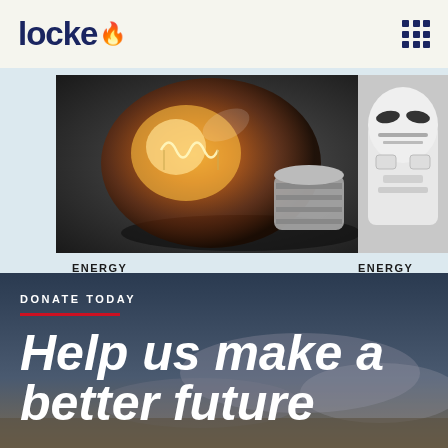locke
[Figure (photo): Close-up photograph of an incandescent light bulb lying on its side, glowing orange-yellow filament visible inside dark glass bulb with silver screw base, on a dark surface]
ENERGY
Duke's Carbon Plan scenarios all flunk the reliability test
[Figure (photo): Partial view of a white LEGO stormtrooper figurine]
ENERGY
An Impo... Hyperre...
DONATE TODAY
Help us make a better future